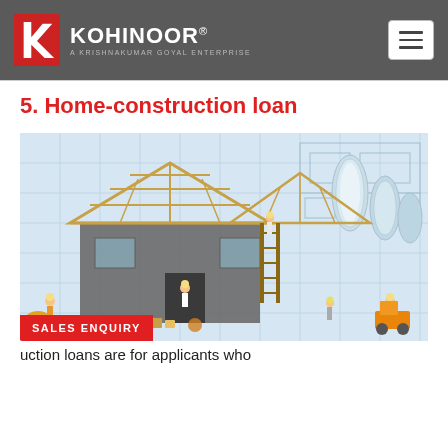KOHINOOR® A KRISHNAKUMAR GOYAL ENTERPRISE
5. Home-construction loan
[Figure (photo): Miniature model house under construction with wooden frame and miniature construction workers, placed on top of architectural blueprint drawings. Rolled blueprints visible in the background.]
SALES ENQUIRY
uction loans are for applicants who